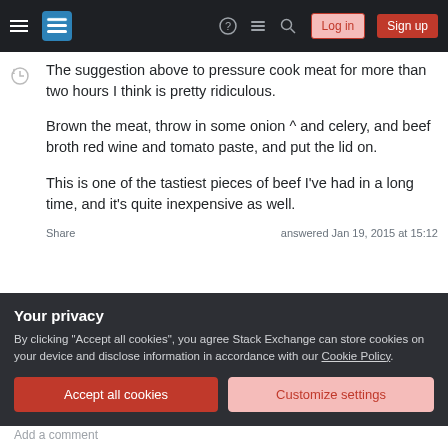Stack Exchange site header with hamburger menu, logo, help, chat, search icons, Log in and Sign up buttons
The suggestion above to pressure cook meat for more than two hours I think is pretty ridiculous.

Brown the meat, throw in some onion ^ and celery, and beef broth red wine and tomato paste, and put the lid on.

This is one of the tastiest pieces of beef I've had in a long time, and it's quite inexpensive as well.
Share
answered Jan 19, 2015 at 15:12
Your privacy
By clicking "Accept all cookies", you agree Stack Exchange can store cookies on your device and disclose information in accordance with our Cookie Policy.
Accept all cookies
Customize settings
Add a comment